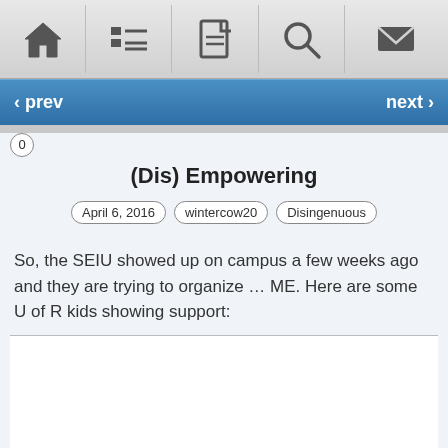[Figure (screenshot): Top navigation toolbar with five icon buttons: home, list/menu, document, search, and mail/envelope icons]
‹ prev   next ›
0
(Dis) Empowering
April 6, 2016   wintercow20   Disingenuous
So, the SEIU showed up on campus a few weeks ago and they are trying to organize … ME. Here are some U of R kids showing support: